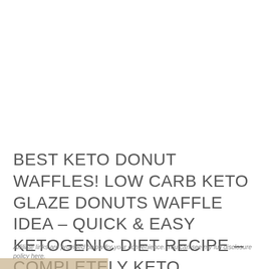BEST KETO DONUT WAFFLES! LOW CARB KETO GLAZE DONUTS WAFFLE IDEA – QUICK & EASY KETOGENIC DIET RECIPE – COMPLETELY KETO FRIENDLY
Affiliate links are provided below for your convenience. You can see my full disclosure policy here.
[Figure (photo): Partial view of a food photo at the bottom of the page, showing what appears to be keto donut waffles.]